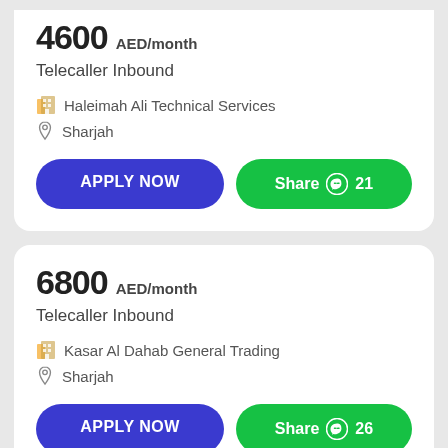4600 AED/month
Telecaller Inbound
Haleimah Ali Technical Services
Sharjah
APPLY NOW
Share 21
6800 AED/month
Telecaller Inbound
Kasar Al Dahab General Trading
Sharjah
APPLY NOW
Share 26